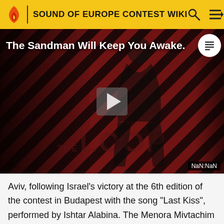SOUND OF EUROPE CONTEST WIKI
[Figure (screenshot): Video player thumbnail showing a dark-themed music video titled 'The Sandman Will Keep You Awake.' with diagonal red-and-black stripes, a dramatic figure in black, THE LOOP watermark, a play button, and NaN:NaN timestamp.]
Aviv, following Israel's victory at the 6th edition of the contest in Budapest with the song "Last Kiss", performed by Ishtar Alabina. The Menora Mivtachim Arena has a capacity of approximately 10,383 attendees. The arena is home to the Maccabi Tel Aviv basketball club, a member